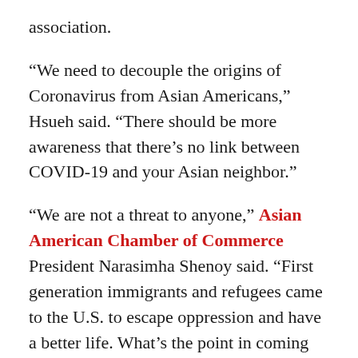association.
“We need to decouple the origins of Coronavirus from Asian Americans,” Hsueh said. “There should be more awareness that there’s no link between COVID-19 and your Asian neighbor.”
“We are not a threat to anyone,” Asian American Chamber of Commerce President Narasimha Shenoy said. “First generation immigrants and refugees came to the U.S. to escape oppression and have a better life. What’s the point in coming here if they are going to keep facing the same mistreatment?”
On top of physically endangering the AAPI community, pandemic-related stereotypes are